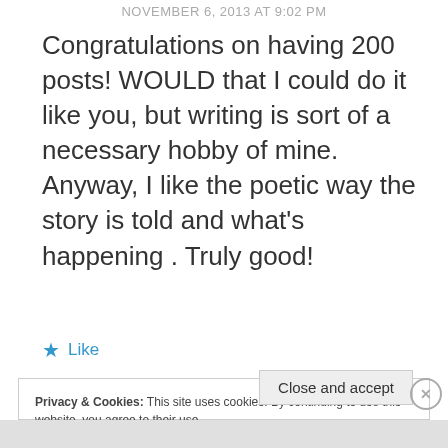NOVEMBER 6, 2013 AT 9:02 PM
Congratulations on having 200 posts! WOULD that I could do it like you, but writing is sort of a necessary hobby of mine. Anyway, I like the poetic way the story is told and what's happening . Truly good!
★ Like
Privacy & Cookies: This site uses cookies. By continuing to use this website, you agree to their use.
To find out more, including how to control cookies, see here: Cookie Policy